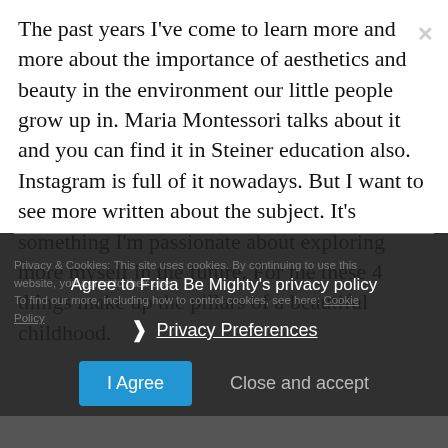The past years I've come to learn more and more about the importance of aesthetics and beauty in the environment our little people grow up in. Maria Montessori talks about it and you can find it in Steiner education also. Instagram is full of it nowadays. But I want to see more written about the subject. It's something I'm passionate about exploring more myself in the future. For me these 4 things make up the pillars of a beautiful childhood.
Agree to Frida Be Mighty's privacy policy
Privacy & Cookies: This site uses cookies. By continuing to use this website, you agree to their use. To find our more, including how to control cookies, see here: Cookie Policy
❯ Privacy Preferences
I Agree
Close and accept